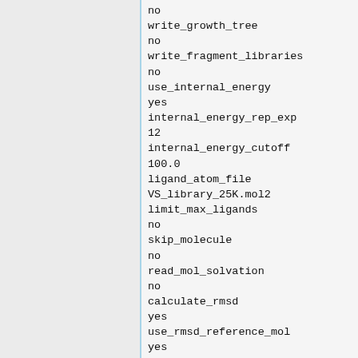no
write_growth_tree
no
write_fragment_libraries
no
use_internal_energy
yes
internal_energy_rep_exp
12
internal_energy_cutoff
100.0
ligand_atom_file
VS_library_25K.mol2
limit_max_ligands
no
skip_molecule
no
read_mol_solvation
no
calculate_rmsd
yes
use_rmsd_reference_mol
yes
rmsd_reference_filename
../001_dockprep/3jqz_lig_withH